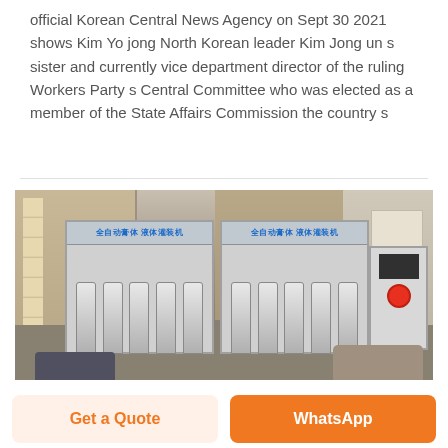official Korean Central News Agency on Sept 30 2021 shows Kim Yo jong North Korean leader Kim Jong un s sister and currently vice department director of the ruling Workers Party s Central Committee who was elected as a member of the State Affairs Commission the country s
[Figure (photo): Outdoor photo showing industrial liquid filling machines labeled in Chinese (全自动膏体液体灌装机) with buildings in the background and vehicles visible at the bottom.]
Get a Quote
WhatsApp